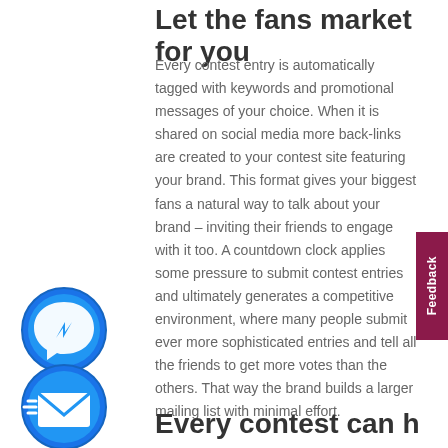Let the fans market for you
Every contest entry is automatically tagged with keywords and promotional messages of your choice. When it is shared on social media more back-links are created to your contest site featuring your brand. This format gives your biggest fans a natural way to talk about your brand – inviting their friends to engage with it too. A countdown clock applies some pressure to submit contest entries and ultimately generates a competitive environment, where many people submit ever more sophisticated entries and tell all the friends to get more votes than the others. That way the brand builds a larger mailing list with minimal effort.
[Figure (illustration): Blue circular Facebook Messenger icon with white lightning bolt symbol]
[Figure (illustration): Blue circular email icon with white envelope and motion lines]
Every contest can have a